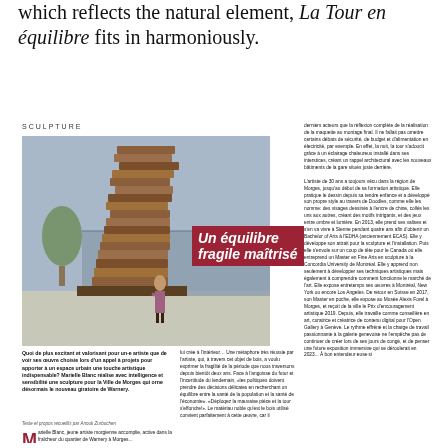which reflects the natural element, La Tour en équilibre fits in harmoniously.
[Figure (photo): Large wooden Jenga-like sculpture tower with a woman standing near it in a public plaza, with a glass-roofed building in the background. Section labeled SCULPTURE.]
Un équilibre fragile maîtrisé
Quoi de plus excitant et valorisant pour un·e artiste que de voir ses œuvre choisie lors d'un appel à projets pour apporter à un espace urbain une touche artistique indispensable? Marielle Blanc réalise avec intelligence et sensibilité une sculpture pour la Ville de Morges qui orne désormais le nouveau giratoire de Warnery.
Texte et propos recueillis par Anouk Zurbuchen
Marielle Blanc, jeune artiste morgienne accomplie, active dans la fraîcheur...
lui crée à l'intérieur… Une métaphore très réussie par l'artiste, qui, à travers cet objet de bois, a voulu exprimer la fragilité de la période que nous traversons depuis bientôt deux ans. Face à l'angoisse du futur et l'incertitude du lendemain, "les politiques doivent prendre des décisions délicates en recherchant un équilibre entre la santé de la population et la santé de l'économie". "Déploqez la mauvaise pièce et la tour s'effondre!". Le matériau noble qu'est le bois utilisé convient parfaitement à cette œuvre, car il
derniers acteurs que la réflexion complète de la réalisation de la maquette au montage final. Il ne fallait pas omettre certains débats de sécurité, de budget et d'alimentation en électricité, par exemple. En effet, la nuit, la tour s'adoucit grâce à un éclairage chaleureux installé dans ses interstices, créant un rappel architectural avec les nouveaux bâtiments de la gare situés juste derrière. L'artiste de 30 ans a toujours vécu dans la région de Morges, jusqu'au début de sa formation artistique. Elle pratique le dessin depuis sa tendre enfance et a développé son propre style au travers de Doodles, comme elle les nomme: des visages dessinés à l'encre de chine, collés les uns aux autres, créant des motifs intrigants, et des jeux entre ombre et lumière. En 2013, elle prend ses valises et s'en va vivre à Sienne pendant quatre ans afin d'obtenir un Bachelor of Arts à l'EDHA (anciennement ECAS). Elle y développe son attrait pour la sculpture et l'installation. Puis elle s'envole sur un coup de tête pour le Canada où elle entreprend un Master en Fine Arts en sculpture à la Concordia University de Montréal. Elle y apprend non seulement à développer ses techniques artistiques mais également à comprendre comment fonctionne le marché de l'art. Elle expose entretemps ses œuvres à Montréal, New York ou encore Los Angeles. De retour en Suisse en 2017, son Master en poche, elle expose au Musée Alexis Forel à Morges, et reçoit de la ville le Prix d'encouragement artistique 2019. Depuis, elle travaille comme conseillère en art, curatrice et créatrice de contenu digital pour l'Open Gallery à Genève. Le rythme effréné et la charge de travail passionnante à la galerie genevoise ne l'empêche pas de continuer de créer lors de ses jours de congé, et de penser une future exposition immersive qui se déroulerait en 2023... À bon entendeur-euse·si